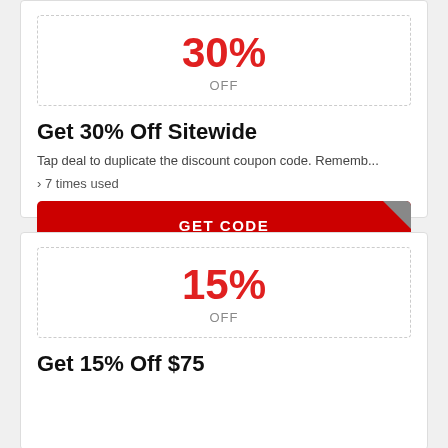[Figure (other): Coupon box showing 30% OFF in red text with dashed border]
Get 30% Off Sitewide
Tap deal to duplicate the discount coupon code. Rememb...
› 7 times used
GET CODE
[Figure (other): Coupon box showing 15% OFF in red text with dashed border]
Get 15% Off $75